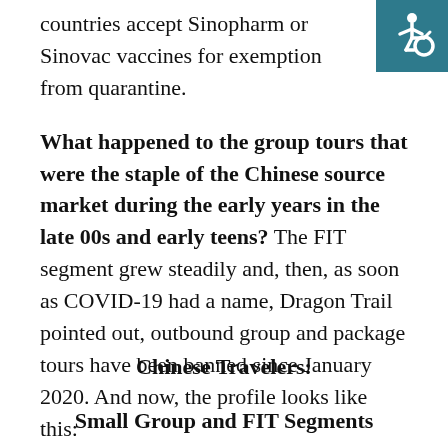countries accept Sinopharm or Sinovac vaccines for exemption from quarantine.
[Figure (illustration): Accessibility icon: white wheelchair symbol on teal/dark cyan square background]
What happened to the group tours that were the staple of the Chinese source market during the early years in the late 00s and early teens? The FIT segment grew steadily and, then, as soon as COVID-19 had a name, Dragon Trail pointed out, outbound group and package tours have been banned since January 2020. And now, the profile looks like this:
Chinese Travelers:
Small Group and FIT Segments